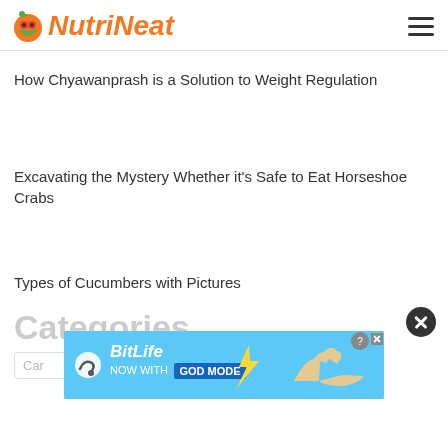NutriNeat
How Chyawanprash is a Solution to Weight Regulation
Excavating the Mystery Whether it's Safe to Eat Horseshoe Crabs
Types of Cucumbers with Pictures
Categories
[Figure (screenshot): BitLife advertisement banner - NOW WITH GOD MODE]